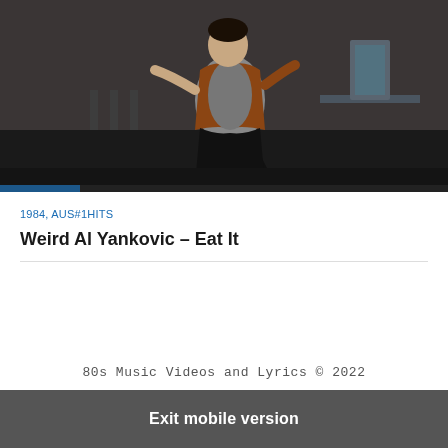[Figure (screenshot): Video thumbnail/screenshot of a person dancing or moving in a room with chairs and tables in the background, dark indoor setting, appears to be a music video still.]
1984, AUS#1HITS
Weird Al Yankovic – Eat It
80s Music Videos and Lyrics © 2022
Exit mobile version